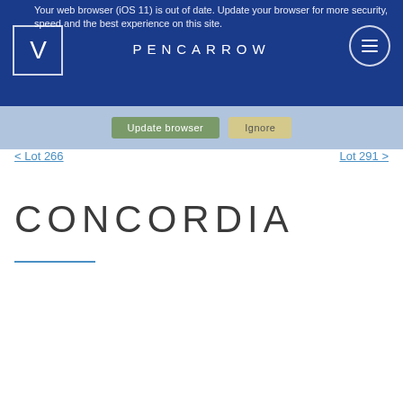PENCARROW
Your web browser (iOS 11) is out of date. Update your browser for more security, speed and the best experience on this site.
Update browser  Ignore
< Lot 266    Lot 291 >
CONCORDIA